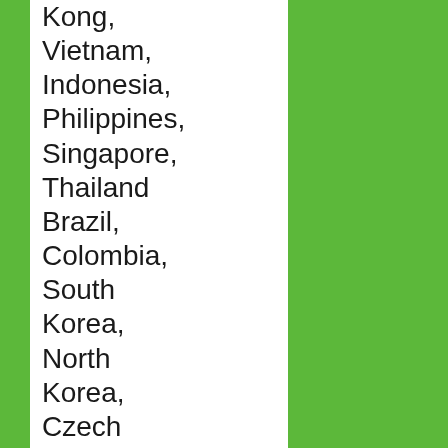Kong, Vietnam, Indonesia, Philippines, Singapore, Thailand, Brazil, Colombia, South Korea, North Korea, Czech Republic, London, Romania, Poland, and South Africa . It was a great